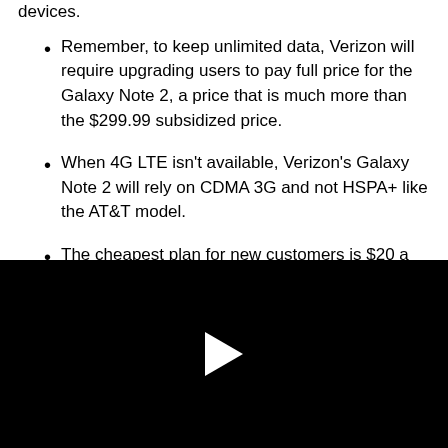devices.
Remember, to keep unlimited data, Verizon will require upgrading users to pay full price for the Galaxy Note 2, a price that is much more than the $299.99 subsidized price.
When 4G LTE isn't available, Verizon's Galaxy Note 2 will rely on CDMA 3G and not HSPA+ like the AT&T model.
The cheapest plan for new customers is $20 a month more than AT&T.
[Figure (other): Black video player area with a white play button triangle in the center]